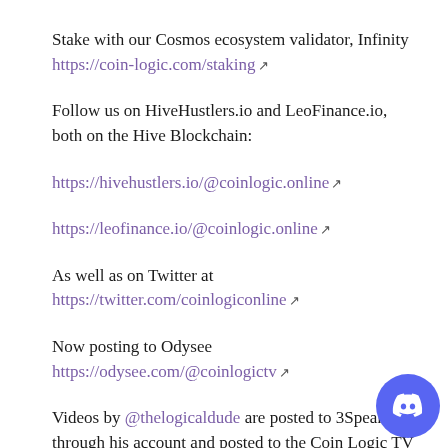Stake with our Cosmos ecosystem validator, Infinity
https://coin-logic.com/staking
Follow us on HiveHustlers.io and LeoFinance.io, both on the Hive Blockchain:
https://hivehustlers.io/@coinlogic.online
https://leofinance.io/@coinlogic.online
As well as on Twitter at
https://twitter.com/coinlogiconline
Now posting to Odysee
https://odysee.com/@coinlogictv
Videos by @thelogicaldude are posted to 3Speak through his account and posted to the Coin Logic TV